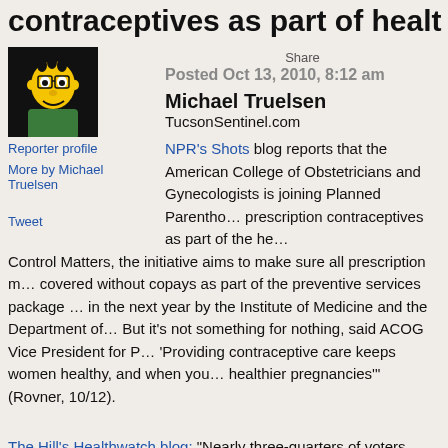contraceptives as part of healt
Posted Oct 13, 2010, 8:12 am
[Figure (photo): Avatar/profile photo of reporter shown as cartoon character (Simpsons-style) with black background]
Reporter profile
More by Michael Truelsen
Tweet
Share
Michael Truelsen
TucsonSentinel.com
NPR's Shots blog reports that the American College of Obstetricians and Gynecologists is joining Planned Parenthood in calling for making prescription contraceptives as part of the health care reform. Called Birth Control Matters, the initiative aims to make sure all prescription medications for birth control are covered without copays as part of the preventive services package to be determined in the next year by the Institute of Medicine and the Department of Health. But it's not something for nothing, said ACOG Vice President for Practice Activities: 'Providing contraceptive care keeps women healthy, and when you're healthier, you have healthier pregnancies'" (Rovner, 10/12).
The Hill's Healthwatch blog: "Nearly three-quarters of voters support requiring insurers to cover prescription contraceptives without charging patients, according to a poll released Tuesday. Seventy-one percent of respondents said insurance companies should be required to pay for birth control pills and other methods of prescription contracepti